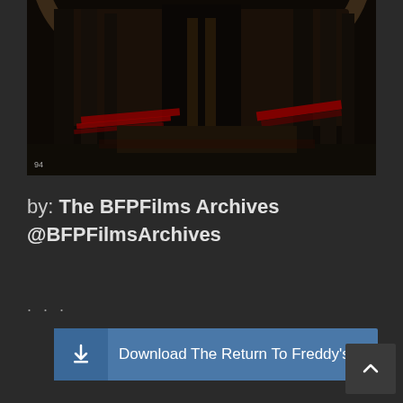[Figure (screenshot): Dark game screenshot showing an indoor game environment from 'The Return To Freddy's' with dim reddish lighting, wooden structures, and a stage-like area. A small '94' timestamp or counter is visible in the lower-left corner of the image.]
by: The BFPFilms Archives @BFPFilmsArchives
. . .
Download The Return To Freddy's Saga